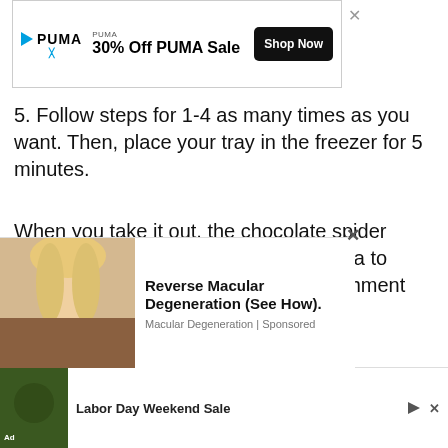[Figure (screenshot): PUMA advertisement banner with logo, '30% Off PUMA Sale' text, and 'Shop Now' button]
5. Follow steps for 1-4 as many times as you want. Then, place your tray in the freezer for 5 minutes.
When you take it out, the chocolate spider webs will be hard. Gently, use a spatula to remove the spider webs from the parchment paper.
[Figure (photo): Dark/black background photo showing chocolate spider webs on parchment paper]
[Figure (screenshot): Bottom ad banner showing 'Labor Day Weekend Sale' advertisement]
[Figure (screenshot): Side popup ad: 'Reverse Macular Degeneration (See How). Macular Degeneration | Sponsored' with photo of blonde woman]